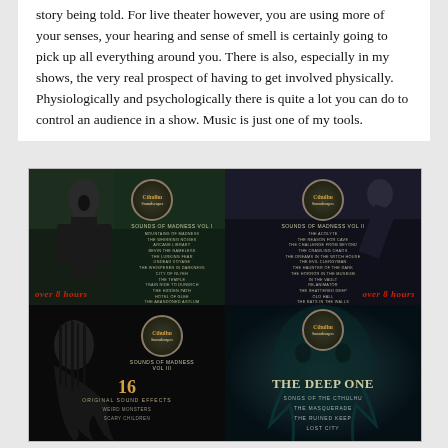story being told. For live theater however, you are using more of your senses, your hearing and sense of smell is certainly going to pick up all everything around you. There is also, especially in my shows, the very real prospect of having to get involved physically. Physiologically and psychologically there is quite a lot you can do to control an audience in a show. Music is just one of my tools.
[Figure (photo): A 2x2 grid of album covers for 'Cthulhu Soundscapes' series, showing dark horror-themed artwork. Top-left: 'Sounds of Madness Vol I' with a screaming man in a suit. Top-right: 'Sounds of Madness Vol II' with a person falling. Bottom-left: 'Sounds of Madness Vol III' with 16 Original Sound Effects. Bottom-right: 'The Deep One' with underwater creature face. Both top covers show 'Over 8 Hours' text in red.]